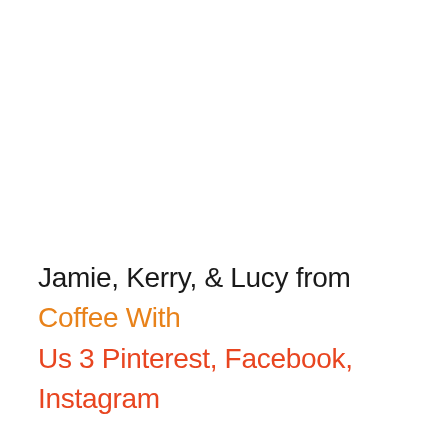Jamie, Kerry, & Lucy from Coffee With Us 3 Pinterest, Facebook, Instagram